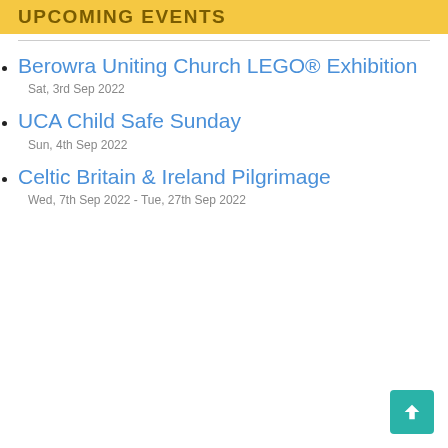UPCOMING EVENTS
Berowra Uniting Church LEGO® Exhibition
Sat, 3rd Sep 2022
UCA Child Safe Sunday
Sun, 4th Sep 2022
Celtic Britain & Ireland Pilgrimage
Wed, 7th Sep 2022 - Tue, 27th Sep 2022